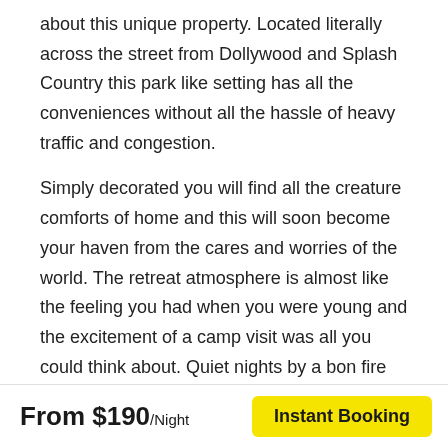about this unique property. Located literally across the street from Dollywood and Splash Country this park like setting has all the conveniences without all the hassle of heavy traffic and congestion.
Simply decorated you will find all the creature comforts of home and this will soon become your haven from the cares and worries of the world. The retreat atmosphere is almost like the feeling you had when you were young and the excitement of a camp visit was all you could think about. Quiet nights by a bon fire reflecting on the goodness of our Creator will put you in the right frame of mind. From small parties of only two people to very large ones of several hundred this village is equipped to handle all your needs. If you are simply planning some time away with your significant other or you are in need of a venue with ample room for a large crowd this will suit your every need.
From $190/Night
Instant Booking